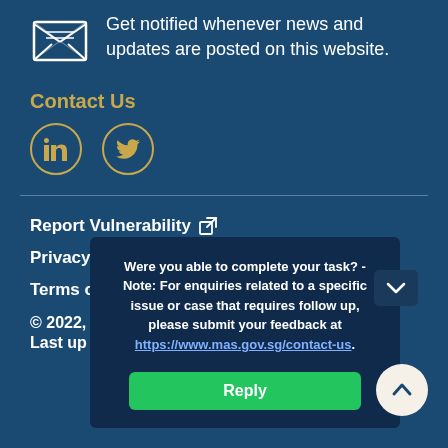Get notified whenever news and updates are posted on this website.
Contact Us
[Figure (illustration): Envelope/mail icon and social media icons (LinkedIn, Twitter) in gold circles on dark blue background]
Report Vulnerability (external link icon)
Privacy Statement
Terms of ...
© 2022,
Last up...
Were you able to complete your task? - Note: For enquiries related to a specific issue or case that requires follow up, please submit your feedback at https://www.mas.gov.sg/contact-us.